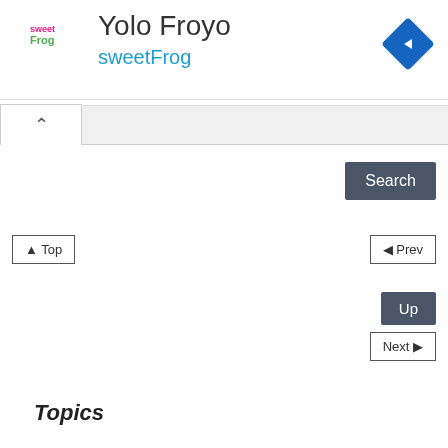[Figure (logo): sweetFrog logo — pink and green text on white background]
Yolo Froyo
sweetFrog
[Figure (other): Blue diamond-shaped navigation icon with a right-turn arrow]
[Figure (other): Play/triangle icon (small, grey)]
[Figure (other): Close/X icon (small, grey)]
^
Search
▲ Top
◄ Prev
Up
Next ►
Topics